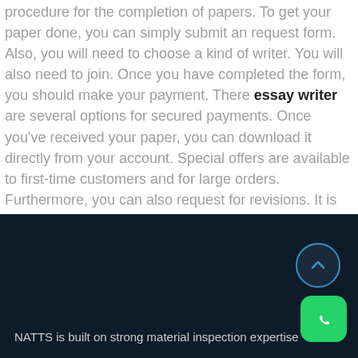procedure for the completion of papers. To get your paper done, you can simply submit an request form. Also, you will need to choose a kind of writer. You will also need to join. Once you have completed the form, you should make your payment. There essay writer are several options for secured payments. Once you've received your paper, you can download it directly from your account. Special offers are available to first-time customers and for large orders. Furthermore, you can also request for revisions. It is common to get three revisions for free.
NATTS is built on strong material inspection expertise